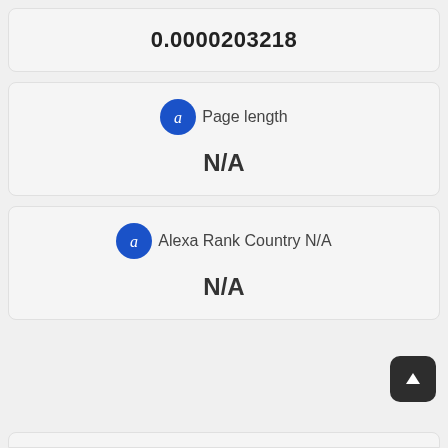0.0000203218
Page length
N/A
Alexa Rank Country N/A
N/A